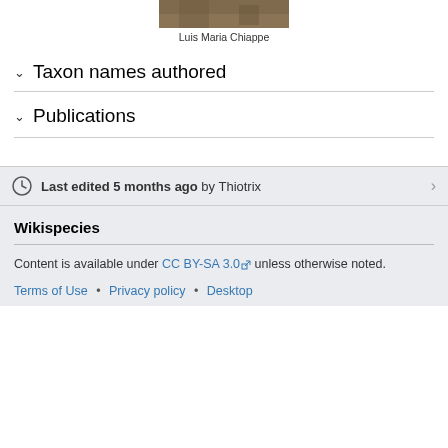[Figure (photo): Partial photo of Luis Maria Chiappe at top of page (cropped)]
Luis Maria Chiappe
Taxon names authored
Publications
Last edited 5 months ago by Thiotrix
Wikispecies
Content is available under CC BY-SA 3.0 unless otherwise noted.
Terms of Use • Privacy policy • Desktop